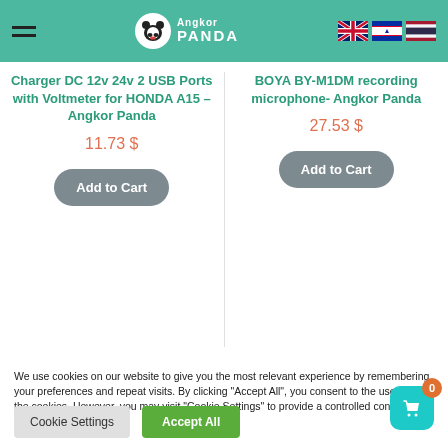Angkor Panda — navigation header with hamburger menu, logo, and language flags (UK, Cambodia, Thailand)
Charger DC 12v 24v 2 USB Ports with Voltmeter for HONDA A15 – Angkor Panda
11.73 $
BOYA BY-M1DM recording microphone- Angkor Panda
27.53 $
We use cookies on our website to give you the most relevant experience by remembering your preferences and repeat visits. By clicking "Accept All", you consent to the use of ALL the cookies. However, you may visit "Cookie Settings" to provide a controlled consent.
Cookie Settings
Accept All